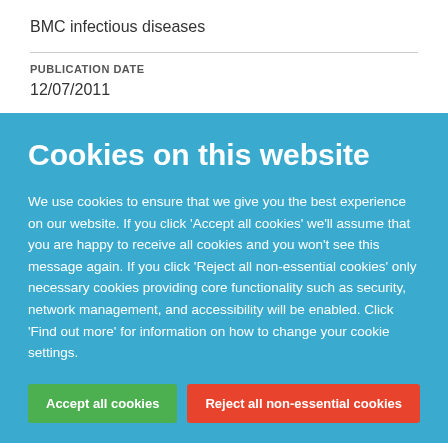BMC infectious diseases
PUBLICATION DATE
12/07/2011
Cookies on this website
We use cookies to ensure that we give you the best experience on our website. If you click 'Accept all cookies' we'll assume that you are happy to receive all cookies and you won't see this message again. If you click 'Reject all non-essential cookies' only necessary cookies providing core functionality such as security, network management, and accessibility will be enabled. Click 'Find out more' for information on how to change your cookie settings.
Accept all cookies
Reject all non-essential cookies